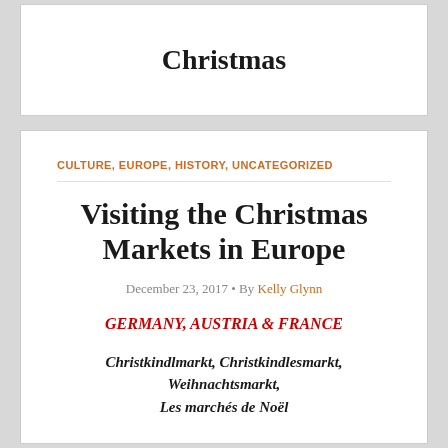Christmas
CULTURE, EUROPE, HISTORY, UNCATEGORIZED
Visiting the Christmas Markets in Europe
December 23, 2017 • By Kelly Glynn
GERMANY, AUSTRIA & FRANCE
Christkindlmarkt, Christkindlesmarkt, Weihnachtsmarkt, Les marchés de Noël